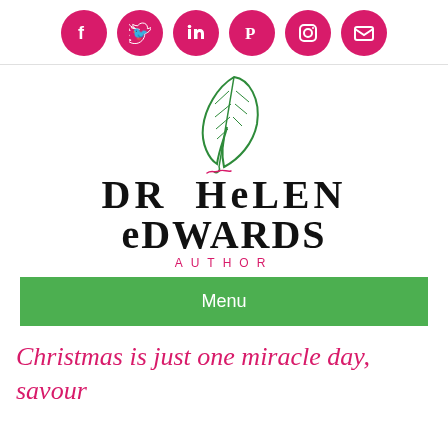[Figure (logo): Social media icons row: Facebook, Twitter, LinkedIn, Pinterest, Instagram, Email — all pink/magenta circles with white icons]
[Figure (logo): Dr Helen Edwards Author logo: green feather quill with pink handwritten signature, bold black stylized text DR HELEN EDWARDS, pink AUTHOR label]
Menu
Christmas is just one miracle day, savour